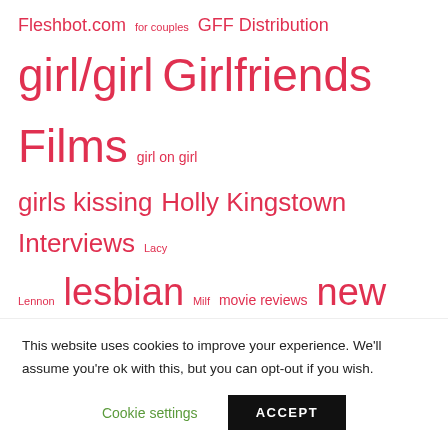Fleshbot.com for couples GFF Distribution girl/girl Girlfriends Films girl on girl girls kissing Holly Kingstown Interviews Lacy Lennon lesbian Milf movie reviews new release New Releases older/younger porn Prinzzess Reagan Foxx review reviews Serene Siren sex Skow Trailer Trailers Women Seeking Women xxx
RECENT COMMENTS
This website uses cookies to improve your experience. We'll assume you're ok with this, but you can opt-out if you wish.